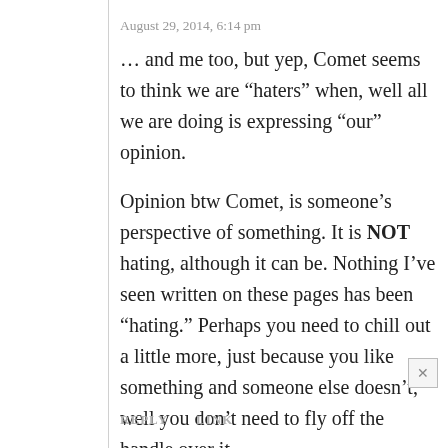August 29, 2014, 6:14 pm
… and me too, but yep, Comet seems to think we are “haters” when, well all we are doing is expressing “our” opinion.
Opinion btw Comet, is someone’s perspective of something. It is NOT hating, although it can be. Nothing I’ve seen written on these pages has been “hating.” Perhaps you need to chill out a little more, just because you like something and someone else doesn’t, well you don’t need to fly off the handle over it.
REPLY   LINK